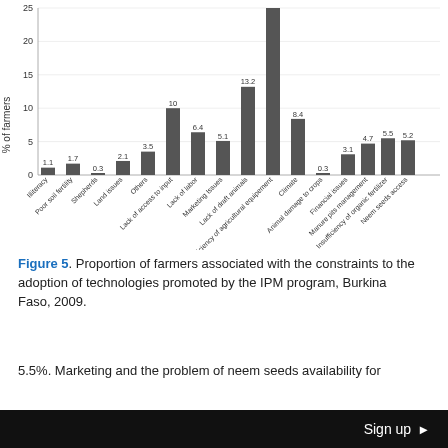[Figure (bar-chart): Proportion of farmers associated with constraints]
Figure 5. Proportion of farmers associated with the constraints to the adoption of technologies promoted by the IPM program, Burkina Faso, 2009.
5.5%. Marketing and the problem of neem seeds availability for